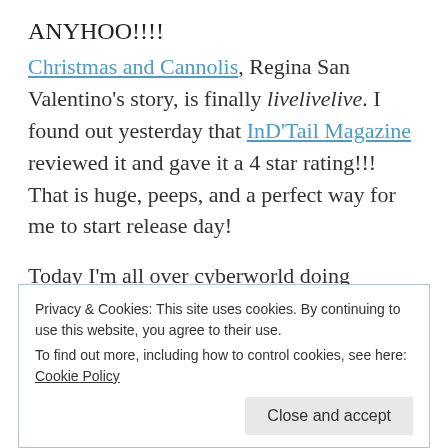ANYHOO!!!!
Christmas and Cannolis, Regina San Valentino's story, is finally livelivelive. I found out yesterday that InD'Tail Magazine reviewed it and gave it a 4 star rating!!! That is huge, peeps, and a perfect way for me to start release day!
Today I'm all over cyberworld doing interviews and talking about the book. Here are some of the links to where I'll be:
Fabulous and Brunette via my Goddess Fish tour
Privacy & Cookies: This site uses cookies. By continuing to use this website, you agree to their use.
To find out more, including how to control cookies, see here: Cookie Policy